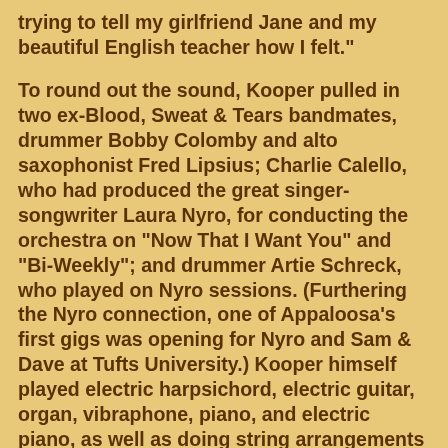trying to tell my girlfriend Jane and my beautiful English teacher how I felt."
To round out the sound, Kooper pulled in two ex-Blood, Sweat & Tears bandmates, drummer Bobby Colomby and alto saxophonist Fred Lipsius; Charlie Calello, who had produced the great singer-songwriter Laura Nyro, for conducting the orchestra on "Now That I Want You" and "Bi-Weekly"; and drummer Artie Schreck, who played on Nyro sessions. (Furthering the Nyro connection, one of Appaloosa's first gigs was opening for Nyro and Sam & Dave at Tufts University.) Kooper himself played electric harpsichord, electric guitar, organ, vibraphone, piano, and electric piano, as well as doing string arrangements for "Rosalie" and temple blocks on "Rivers Run to the Sea."
"I would not be talking to you if it were not for Al Kooper," Compton enthuses. "We were aware at the time, of course, that Kooper worked with Dylan, and we were in awe of him. But from the start, Al immediately set a wonderful relaxed tone, and went out of his way to